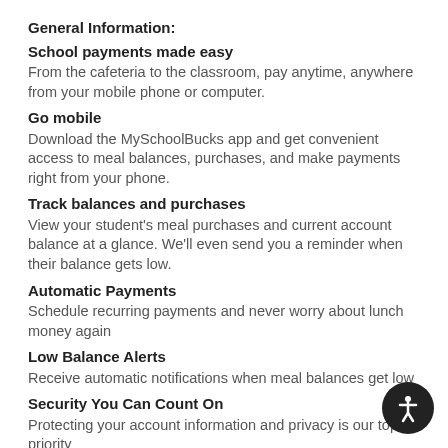General Information:
School payments made easy
From the cafeteria to the classroom, pay anytime, anywhere from your mobile phone or computer.
Go mobile
Download the MySchoolBucks app and get convenient access to meal balances, purchases, and make payments right from your phone.
Track balances and purchases
View your student's meal purchases and current account balance at a glance. We'll even send you a reminder when their balance gets low.
Automatic Payments
Schedule recurring payments and never worry about lunch money again
Low Balance Alerts
Receive automatic notifications when meal balances get low
Security You Can Count On
Protecting your account information and privacy is our top priority